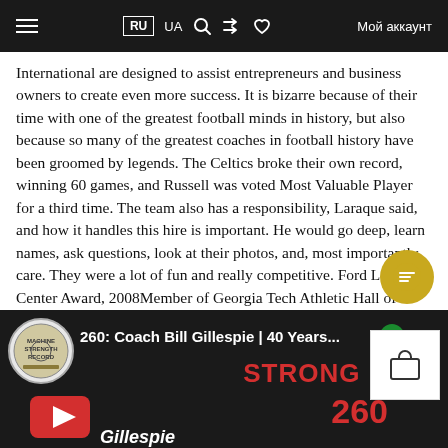RU   UA   Мой аккаунт
International are designed to assist entrepreneurs and business owners to create even more success. It is bizarre because of their time with one of the greatest football minds in history, but also because so many of the greatest coaches in football history have been groomed by legends. The Celtics broke their own record, winning 60 games, and Russell was voted Most Valuable Player for a third time. The team also has a responsibility, Laraque said, and how it handles this hire is important. He would go deep, learn names, ask questions, look at their photos, and, most importantly, care. They were a lot of fun and really competitive. Ford Legends Center Award, 2008Member of Georgia Tech Athletic Hall of Fame, State of Georgia Sports Hall of Fame, Atlanta Sports Hall of Fame.
[Figure (screenshot): YouTube video thumbnail showing Coach Bill Gillespie | 40 Years... with red STRONG LIFE text and number 260]